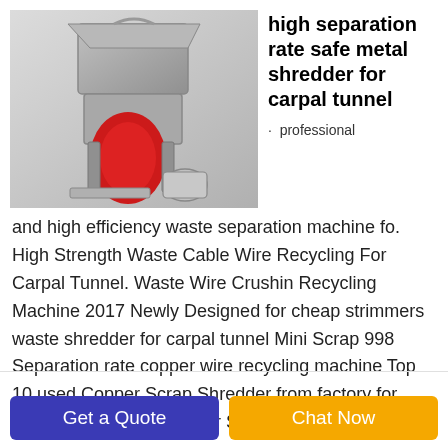[Figure (photo): 3D render of a metal shredder machine with gray body and red components, with a motor at the base]
high separation rate safe metal shredder for carpal tunnel
· professional
and high efficiency waste separation machine fo. High Strength Waste Cable Wire Recycling For Carpal Tunnel. Waste Wire Crushin Recycling Machine 2017 Newly Designed for cheap strimmers waste shredder for carpal tunnel Mini Scrap 998 Separation rate copper wire recycling machine Top 10 used Copper Scrap Shredder from factory for waste copper wire Copper Scrap
Get a Quote
Chat Now